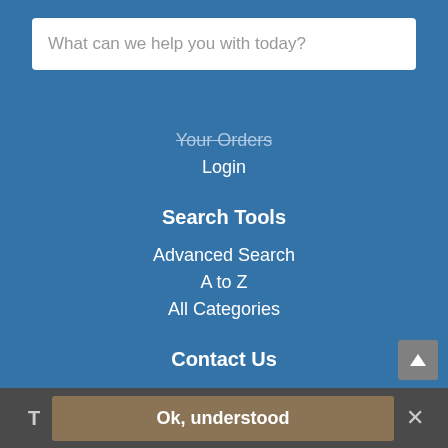What can we help you with today?
Your Orders
Login
Search Tools
Advanced Search
A to Z
All Categories
Contact Us
Hereward Stationers
Unit 2, Fengate Trading Park
Fengate
Peterborough
PE1 5XB
Ok, understood